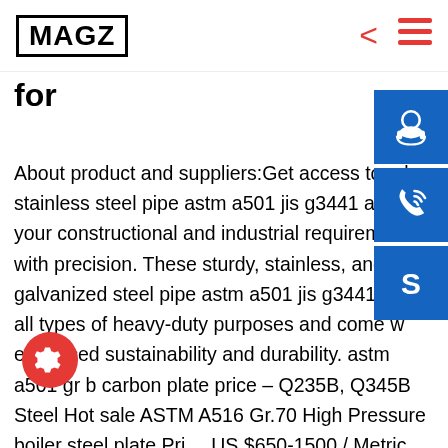MAGZ
for
About product and suppliers:Get access to robust stainless steel pipe astm a501 jis g3441 at to cater your constructional and industrial requirements with precision. These sturdy, stainless, and galvanized steel pipe astm a501 jis g3441 are ideal for all types of heavy-duty purposes and come with enhanced sustainability and durability. astm a501 gr b carbon plate price – Q235B, Q345B Steel Hot sale ASTM A516 Gr.70 High Pressure boiler steel plate Price:US $650-1500 / Metric Ton . 0.12mm-2.0mm s Carbon Steel Pipe A53/A106 Gr. B, A333 Gr. 6 Sep 20, 2017 · Learn about the 3 most common